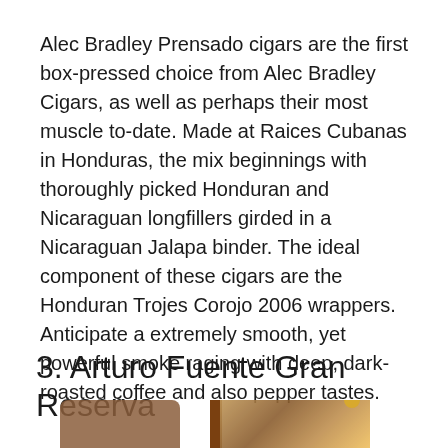Alec Bradley Prensado cigars are the first box-pressed choice from Alec Bradley Cigars, as well as perhaps their most muscle to-date. Made at Raices Cubanas in Honduras, the mix beginnings with thoroughly picked Honduran and Nicaraguan longfillers girded in a Nicaraguan Jalapa binder. The ideal component of these cigars are the Honduran Trojes Corojo 2006 wrappers. Anticipate a extremely smooth, yet powerful smoke raging with deep, dark-roasted coffee and also pepper tastes.
3. Arturo Fuente Gran Reserva
[Figure (photo): Partial view of cigar box and cigars at bottom of page, partially cropped]